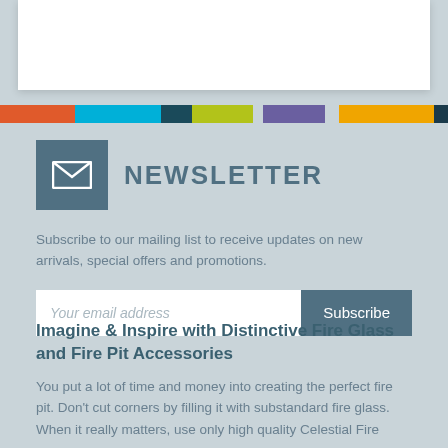[Figure (other): White rectangular box at top of page representing a content/image placeholder area]
[Figure (infographic): Horizontal multicolor stripe bar with segments in orange, cyan, dark teal, yellow-green, purple, orange-yellow, and dark navy]
NEWSLETTER
Subscribe to our mailing list to receive updates on new arrivals, special offers and promotions.
Your email address  Subscribe
Imagine & Inspire with Distinctive Fire Glass and Fire Pit Accessories
You put a lot of time and money into creating the perfect fire pit. Don't cut corners by filling it with substandard fire glass. When it really matters, use only high quality Celestial Fire